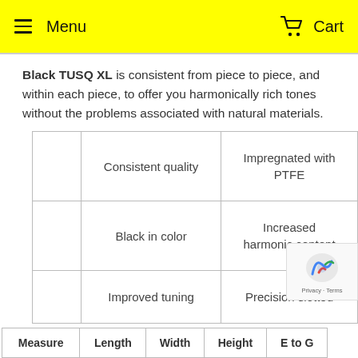Menu   Cart
Black TUSQ XL is consistent from piece to piece, and within each piece, to offer you harmonically rich tones without the problems associated with natural materials.
|  |  |  |
| --- | --- | --- |
|  | Consistent quality | Impregnated with PTFE |
|  | Black in color | Increased harmonic content |
|  | Improved tuning | Precision slotted |
| Measure | Length | Width | Height | E to G |
| --- | --- | --- | --- | --- |